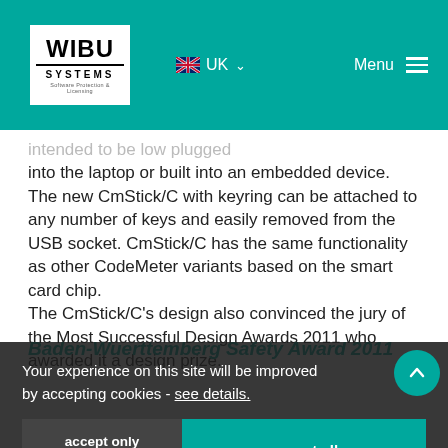WIBU SYSTEMS | UK | Menu
intended to be low plugged into the laptop or built into an embedded device. The new CmStick/C with keyring can be attached to any number of keys and easily removed from the USB socket. CmStick/C has the same functionality as other CodeMeter variants based on the smart card chip. The CmStick/C's design also convinced the jury of the Most Successful Design Awards 2011 who awarded it a design prize.
Baden-Wuerttemberg Safety Award 2011
Your experience on this site will be improved by accepting cookies - see details.
accept only necessary
accept all
The Karlsruhe-based company Wibu-Systems won the first prize in the Baden-Wuerttemberg Safety Awards 2011. The
[Figure (photo): Baden-Württemberg Sicherheitspreis award logo/badge]